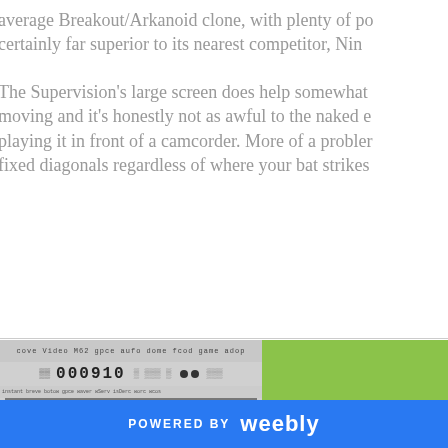average Breakout/Arkanoid clone, with plenty of po certainly far superior to its nearest competitor, Nin
The Supervision's large screen does help somewhat moving and it's honestly not as awful to the naked e playing it in front of a camcorder. More of a probler fixed diagonals regardless of where your bat strikes
[Figure (screenshot): Game screenshot showing a Breakout/Arkanoid style game with score 000910, two bricks formations, a ball, and a paddle on a grey background]
[Figure (photo): Green panel with dark green text reading TRAVE (partially visible)]
POWERED BY weebly